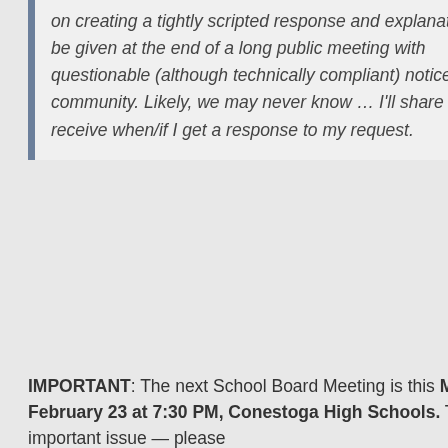on creating a tightly scripted response and explanation to be given at the end of a long public meeting with questionable (although technically compliant) notice to the community. Likely, we may never know … I'll share what I receive when/if I get a response to my request.
IMPORTANT: The next School Board Meeting is this Monday, February 23 at 7:30 PM, Conestoga High Schools. This is an important issue — please